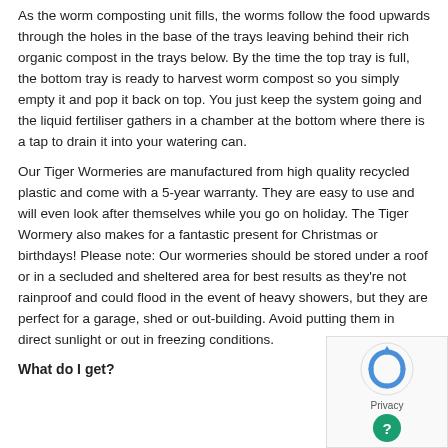As the worm composting unit fills, the worms follow the food upwards through the holes in the base of the trays leaving behind their rich organic compost in the trays below. By the time the top tray is full, the bottom tray is ready to harvest worm compost so you simply empty it and pop it back on top. You just keep the system going and the liquid fertiliser gathers in a chamber at the bottom where there is a tap to drain it into your watering can.
Our Tiger Wormeries are manufactured from high quality recycled plastic and come with a 5-year warranty. They are easy to use and will even look after themselves while you go on holiday. The Tiger Wormery also makes for a fantastic present for Christmas or birthdays! Please note: Our wormeries should be stored under a roof or in a secluded and sheltered area for best results as they're not rainproof and could flood in the event of heavy showers, but they are perfect for a garage, shed or out-building. Avoid putting them in direct sunlight or out in freezing conditions.
What do I get?